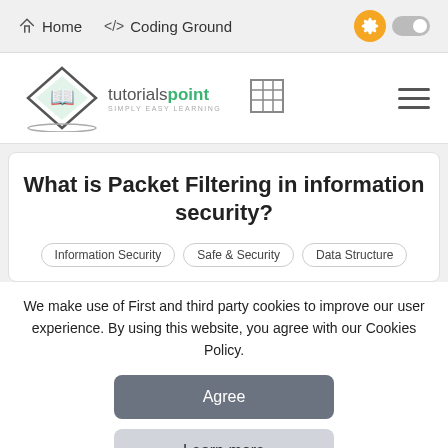Home  Coding Ground
[Figure (logo): Tutorialspoint logo with diamond shape and book icon, text reading tutorialspoint SIMPLY EASY LEARNING]
What is Packet Filtering in information security?
Information Security   Safe & Security   Data Structure
We make use of First and third party cookies to improve our user experience. By using this website, you agree with our Cookies Policy.
Agree
Learn more